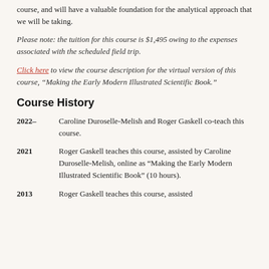course, and will have a valuable foundation for the analytical approach that we will be taking.
Please note: the tuition for this course is $1,495 owing to the expenses associated with the scheduled field trip.
Click here to view the course description for the virtual version of this course, “Making the Early Modern Illustrated Scientific Book.”
Course History
2022–  Caroline Duroselle-Melish and Roger Gaskell co-teach this course.
2021  Roger Gaskell teaches this course, assisted by Caroline Duroselle-Melish, online as "Making the Early Modern Illustrated Scientific Book" (10 hours).
2013  Roger Gaskell teaches this course, assisted